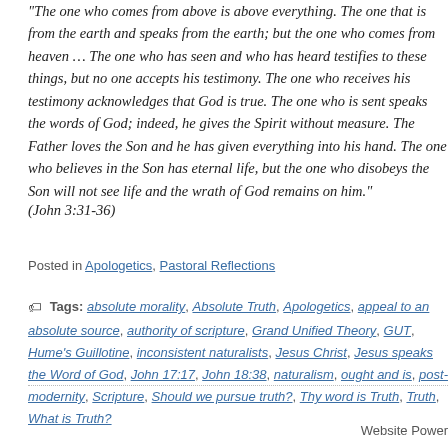“The one who comes from above is above everything. The one that is from the earth and speaks from the earth; but the one who comes from heaven … The one who has seen and who has heard testifies to these things, but no one accepts his testimony. The one who receives his testimony acknowledges that God is true. The one who is sent speaks the words of God; indeed, he gives the Spirit without measure. The Father loves the Son and he has given everything into his hand. The one who believes in the Son has eternal life, but the one who disobeys the Son will not see life and the wrath of God remains on him.”
(John 3:31-36)
Posted in Apologetics, Pastoral Reflections
Tags: absolute morality, Absolute Truth, Apologetics, appeal to an absolute source, authority of scripture, Grand Unified Theory, GUT, Hume’s Guillotine, inconsistent naturalists, Jesus Christ, Jesus speaks the Word of God, John 17:17, John 18:38, naturalism, ought and is, post-modernity, Scripture, Should we pursue truth?, Thy word is Truth, Truth, What is Truth?
Website Power